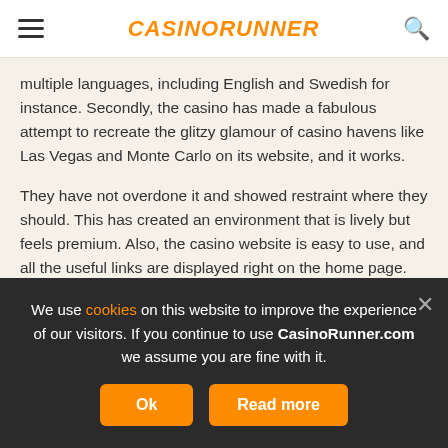CASINORUNNER
multiple languages, including English and Swedish for instance. Secondly, the casino has made a fabulous attempt to recreate the glitzy glamour of casino havens like Las Vegas and Monte Carlo on its website, and it works.
They have not overdone it and showed restraint where they should. This has created an environment that is lively but feels premium. Also, the casino website is easy to use, and all the useful links are displayed right on the home page. So, you get right into gaming without losing any time when you visit the casino.
Banking Options
We use cookies on this website to improve the experience of our visitors. If you continue to use CasinoRunner.com we assume you are fine with it.